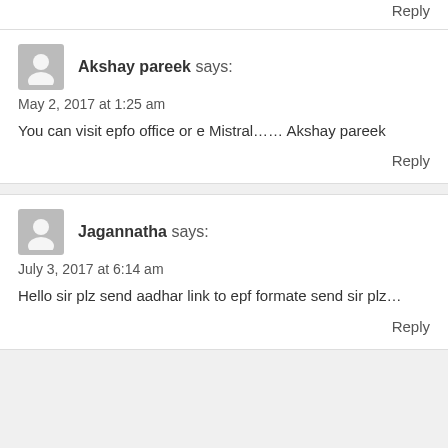Reply
Akshay pareek says:
May 2, 2017 at 1:25 am
You can visit epfo office or e Mistral…… Akshay pareek
Reply
Jagannatha says:
July 3, 2017 at 6:14 am
Hello sir plz send aadhar link to epf formate send sir plz…
Reply